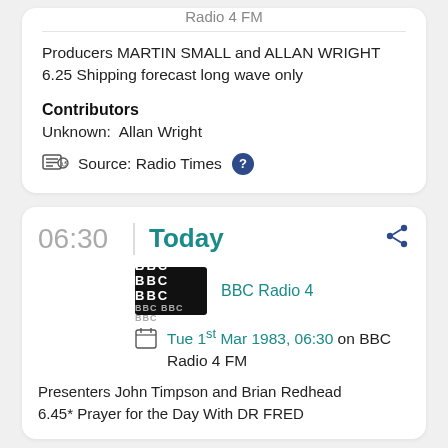Radio 4 FM
Producers MARTIN SMALL and ALLAN WRIGHT
6.25 Shipping forecast long wave only
Contributors
Unknown:  Allan Wright
Source: Radio Times ?
06:30
Today
[Figure (logo): BBC logo black square with white BBC text]
BBC Radio 4
Tue 1st Mar 1983, 06:30 on BBC Radio 4 FM
Presenters John Timpson and Brian Redhead
6.45* Prayer for the Day With DR FRED